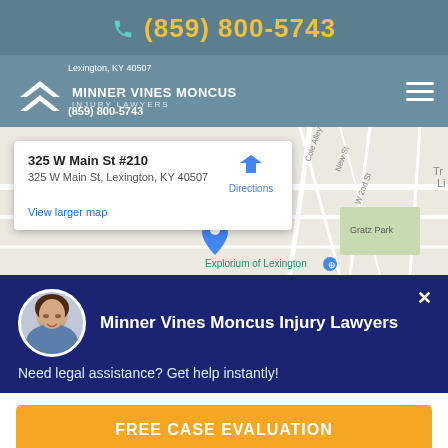(859) 800-5743
MINNER VINES MONCUS INJURY LAWYERS
Lexington, KY 40507
(859) 800-5743
[Figure (map): Google Maps screenshot showing location of 325 W Main St #210, Lexington, KY 40507 with map popup showing address and Directions link]
Minner Vines Moncus Injury Lawyers
Need legal assistance? Get help instantly!
FREE CASE EVALUATION